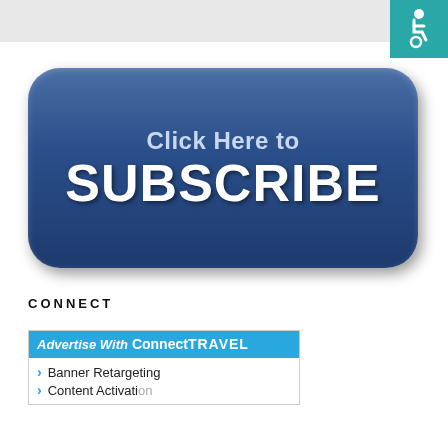[Figure (illustration): Large blue rounded-rectangle button with text 'Click Here to SUBSCRIBE' in white]
CONNECT
[Figure (illustration): Advertise With ConnectTRAVEL banner with blue header and list items: Banner Retargeting, Content Activation]